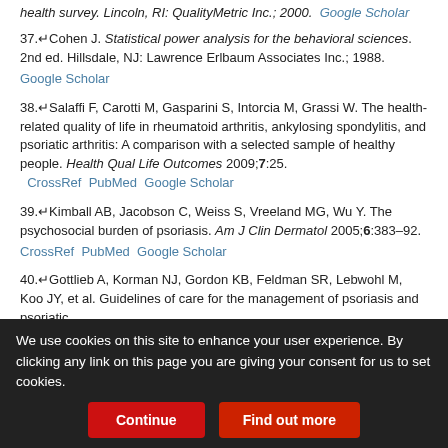health survey. Lincoln, RI: QualityMetric Inc.; 2000. Google Scholar
37. Cohen J. Statistical power analysis for the behavioral sciences. 2nd ed. Hillsdale, NJ: Lawrence Erlbaum Associates Inc.; 1988. Google Scholar
38. Salaffi F, Carotti M, Gasparini S, Intorcia M, Grassi W. The health-related quality of life in rheumatoid arthritis, ankylosing spondylitis, and psoriatic arthritis: A comparison with a selected sample of healthy people. Health Qual Life Outcomes 2009;7:25. CrossRef PubMed Google Scholar
39. Kimball AB, Jacobson C, Weiss S, Vreeland MG, Wu Y. The psychosocial burden of psoriasis. Am J Clin Dermatol 2005;6:383-92. CrossRef PubMed Google Scholar
40. Gottlieb A, Korman NJ, Gordon KB, Feldman SR, Lebwohl M, Koo JY, et al. Guidelines of care for the management of psoriasis and psoriatic...
We use cookies on this site to enhance your user experience. By clicking any link on this page you are giving your consent for us to set cookies.